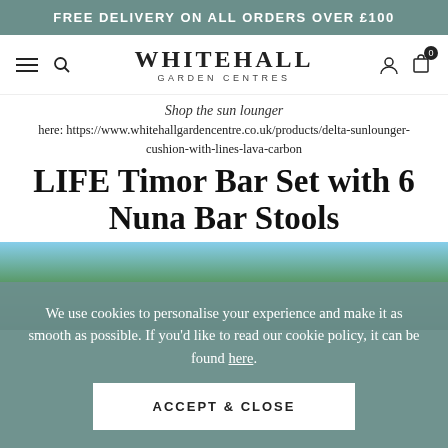FREE DELIVERY ON ALL ORDERS OVER £100
[Figure (screenshot): Whitehall Garden Centres navigation bar with hamburger menu, search icon, logo, user icon, and cart icon showing 0 items]
Shop the sun lounger here: https://www.whitehallgardencentre.co.uk/products/delta-sunlounger-cushion-with-lines-lava-carbon
LIFE Timor Bar Set with 6 Nuna Bar Stools
[Figure (photo): Partial outdoor garden photo showing trees and sky]
We use cookies to personalise your experience and make it as smooth as possible. If you'd like to read our cookie policy, it can be found here.
ACCEPT & CLOSE